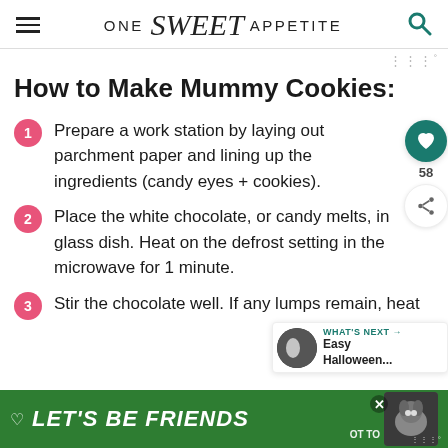ONE Sweet APPETITE
How to Make Mummy Cookies:
Prepare a work station by laying out parchment paper and lining up the ingredients (candy eyes + cookies).
Place the white chocolate, or candy melts, in glass dish. Heat on the defrost setting in the microwave for 1 minute.
Stir the chocolate well. If any lumps remain, heat
[Figure (screenshot): Bottom banner advertisement: green background with heart icon, text LET'S BE FRIENDS, dog photo, close button]
[Figure (screenshot): What's Next widget showing a circular thumbnail and text: WHAT'S NEXT → Easy Halloween...]